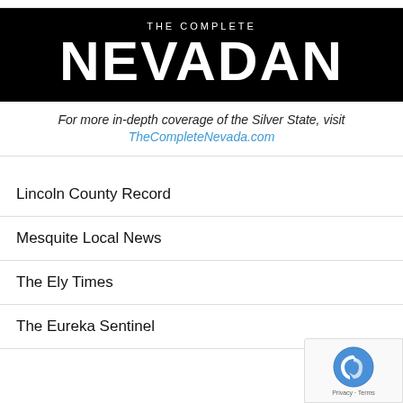[Figure (logo): The Complete Nevadan logo — white text on black background with 'THE COMPLETE' in small caps and 'NEVADAN' in large bold text]
For more in-depth coverage of the Silver State, visit TheCompleteNevada.com
Lincoln County Record
Mesquite Local News
The Ely Times
The Eureka Sentinel